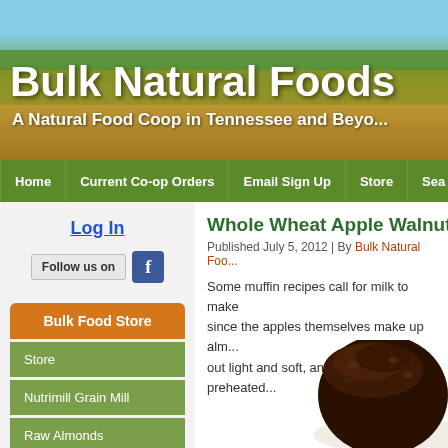[Figure (screenshot): Website header banner with landscape photo showing trees and golden field]
Bulk Natural Foods
A Natural Food Coop in Tennessee and Beyond
Home | Current Co-op Orders | Email Sign Up | Store | Sea...
Log In
Follow us on [Facebook]
Bulk Food Store
Store
Nutrimill Grain Mill
Raw Almonds
Current Co-op Orders
Whole Wheat Apple Walnut Muf...
Published July 5, 2012 | By Bulk Natural Foo...
Some muffin recipes call for milk to make... since the apples themselves make up alm... out light and soft, and baked in preheated...
[Figure (photo): Close-up photo of a dark brown whole wheat walnut muffin on a white plate]